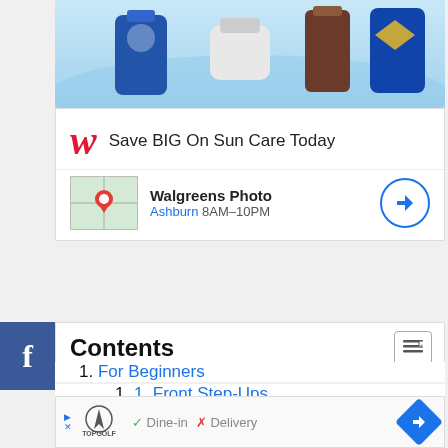[Figure (photo): Walgreens advertisement banner showing sun care products (cream, tinted bottle, sunscreen) against a light blue background]
[Figure (infographic): Walgreens ad card: cursive W logo in red, text 'Save BIG On Sun Care Today', map thumbnail with red location pin showing Walgreens Photo store, text 'Walgreens Photo', 'Ashburn 8AM-10PM', blue circle navigation arrow button]
[Figure (logo): Facebook 'f' logo in white on blue square sidebar]
Contents
1. For Beginners
1. 1. Front Step-Ups
2. 2. Lateral Step-Ups
3. 3. Dumbbell Step-Ups
4. 4. Stepper Push Back Push
[Figure (infographic): Bottom ad: Topgolf logo with play/close icons, checkmark 'Dine-in', X 'Delivery', blue diamond navigation arrow]